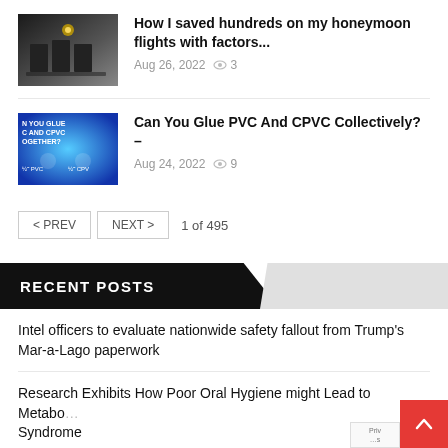[Figure (photo): Thumbnail image of a restaurant/bar seating area with dark chairs and ambient lighting]
How I saved hundreds on my honeymoon flights with factors...
Aug 26, 2022  👁 3
[Figure (photo): Thumbnail image showing PVC and CPVC pipe glue product with text: N YOU GLUE C AND CPVC TOGETHER? PVC PVC CPVC]
Can You Glue PVC And CPVC Collectively? –
Aug 24, 2022  👁 9
< PREV   NEXT >   1 of 495
RECENT POSTS
Intel officers to evaluate nationwide safety fallout from Trump's Mar-a-Lago paperwork
Research Exhibits How Poor Oral Hygiene might Lead to Metabolic Syndrome
How I saved hundreds on my honeymoon flights with factors...